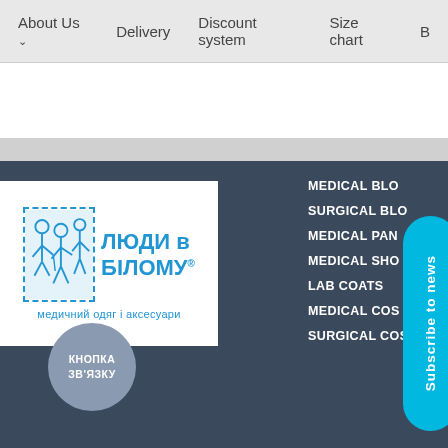About Us    Delivery    Discount system    Size chart    B...
[Figure (logo): Logo of 'Люди в Білому' (People in White) Ukrainian medical clothing brand — blue illustrated figures of medical workers, bold blue Cyrillic text 'ЛЮДИ в БІЛОМУ' with registered trademark symbol, subtitle 'медичний одяг і аксесуари']
MEDICAL BLO...
SURGICAL BLO...
MEDICAL PAN...
MEDICAL SHO...
LAB COATS
MEDICAL COS...
SURGICAL COS...
Subscribe to news
КНОПКА ЗВ'ЯЗКУ